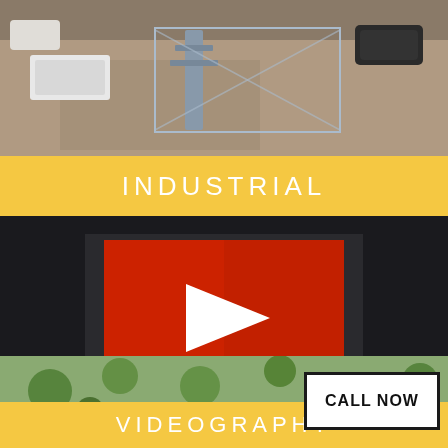[Figure (photo): Aerial drone view of an industrial area showing vehicles, trailers, and equipment in a parking/yard area, top-down perspective]
INDUSTRIAL
[Figure (screenshot): Embedded YouTube-style video player with dark background, red play button thumbnail in center, progress bar at bottom showing 0:00 time, controls visible]
VIDEOGRAPHY
[Figure (photo): Aerial drone view of a suburban neighborhood with houses, trees, and roads visible from above]
CALL NOW